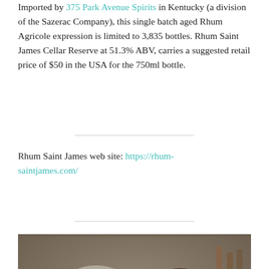Imported by 375 Park Avenue Spirits in Kentucky (a division of the Sazerac Company), this single batch aged Rhum Agricole expression is limited to 3,835 bottles. Rhum Saint James Cellar Reserve at 51.3% ABV, carries a suggested retail price of $50 in the USA for the 750ml bottle.
Rhum Saint James web site: https://rhum-saintjames.com/
[Figure (photo): Photo of two men (middle-aged, one with light/grey hair on the left, one with dark hair on the right) seated at what appears to be a bar or restaurant setting with bottles visible in the background.]